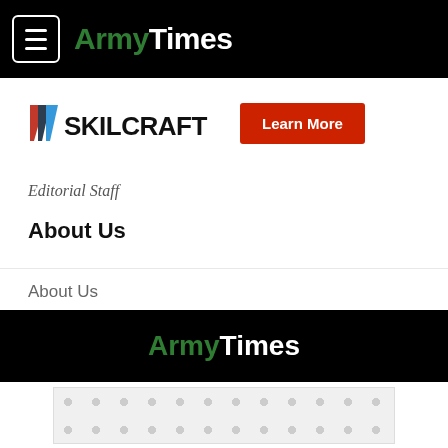ArmyTimes
[Figure (logo): SKILCRAFT logo with diagonal stripe and Learn More button]
Editorial Staff
About Us
About Us
Careers
Jobs for Veterans
ArmyTimes
[Figure (other): Advertisement placeholder with dot pattern]